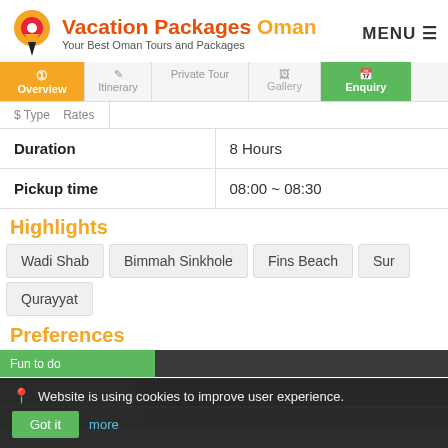Vacation Packages Oman — Your Best Oman Tours and Packages
MENU
| Type |  |
| --- | --- |
| Duration | 8 Hours |
| Pickup time | 08:00 ~ 08:30 |
Highlights
Wadi Shab
Bimmah Sinkhole
Fins Beach
Sur
Qurayyat
Preferences
Fun to do
Sightseeing's
Website is using cookies to improve user experience.
Got it  more